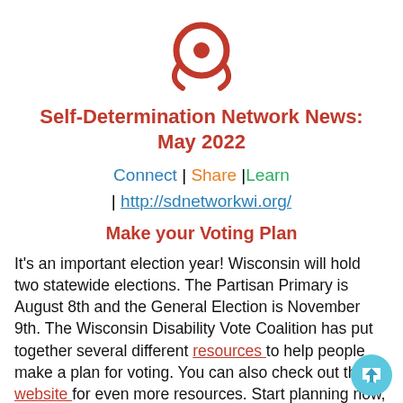[Figure (logo): Self-Determination Network logo: red circular eye/swirl with two curved arms beneath it]
Self-Determination Network News: May 2022
Connect | Share |Learn | http://sdnetworkwi.org/
Make your Voting Plan
It's an important election year! Wisconsin will hold two statewide elections. The Partisan Primary is August 8th and the General Election is November 9th. The Wisconsin Disability Vote Coalition has put together several different resources to help people make a plan for voting. You can also check out their website for even more resources. Start planning now, so you can make sure